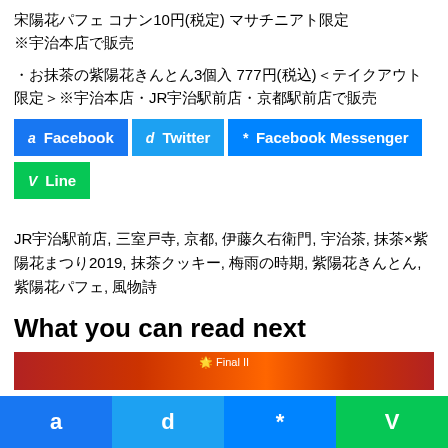宋陽花パフェ コナン10円(税定) マサチニアト限定 ※宇治本店で販売
・お抹茶の紫陽花きんとん3個入 777円(税込)＜テイクアウト限定＞※宇治本店・JR宇治駅前店・京都駅前店で販売
[Figure (infographic): Social share buttons: Facebook (blue), Twitter (light blue), Facebook Messenger (blue), Line (green)]
JR宇治駅前店, 三室戸寺, 京都, 伊藤久右衛門, 宇治茶, 抹茶×紫陽花まつり2019, 抹茶クッキー, 梅雨の時期, 紫陽花きんとん, 紫陽花パフェ, 風物詩
What you can read next
[Figure (photo): Preview image strip at bottom of article]
[Figure (infographic): Bottom navigation bar with four social share icons: a (Facebook blue), d (Twitter light blue), * (Messenger blue), V (Line green)]